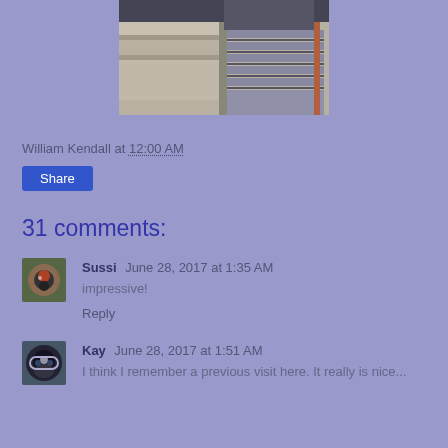[Figure (photo): Photo of interior staircase with metal railings and stone/concrete steps, viewed from above at an angle]
William Kendall at 12:00 AM
Share
31 comments:
Sussi June 28, 2017 at 1:35 AM
impressive!
Reply
Kay June 28, 2017 at 1:51 AM
I think I remember a previous visit here. It really is nice...